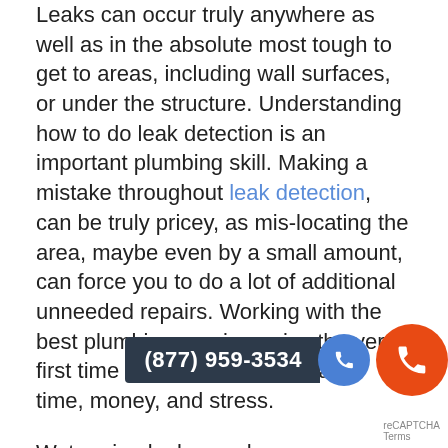Leaks can occur truly anywhere as well as in the absolute most tough to get to areas, including wall surfaces, or under the structure. Understanding how to do leak detection is an important plumbing skill. Making a mistake throughout leak detection, can be truly pricey, as mis-locating the area, maybe even by a small amount, can force you to do a lot of additional unneeded repairs. Working with the best plumbing repair service the very first time can save a great deal of time, money, and stress.
Water pipe leaks can happen regardless of the age of your plumbing. They can create a variety of issues before you even understand there is a leak. Damage can come to be very considerable, before there are any kind of visible signs. Our expert plumbing professionals have the skills and knowledge require to assist with indoor or exterior leaks.